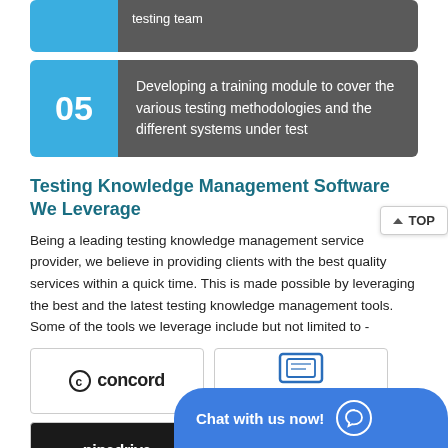[Figure (infographic): Partial numbered card (top of page, cropped) with blue number box and dark text box showing 'testing team']
05 — Developing a training module to cover the various testing methodologies and the different systems under test
Testing Knowledge Management Software We Leverage
Being a leading testing knowledge management service provider, we believe in providing clients with the best quality services within a quick time. This is made possible by leveraging the best and the latest testing knowledge management tools. Some of the tools we leverage include but not limited to -
[Figure (logo): Concord logo with circle-C icon and bold 'concord' text]
[Figure (logo): eFileCabinet logo with blue cabinet icon and text]
[Figure (logo): Pipedrive logo on dark background]
[Figure (screenshot): Chat with us now! widget button (blue, bottom right)]